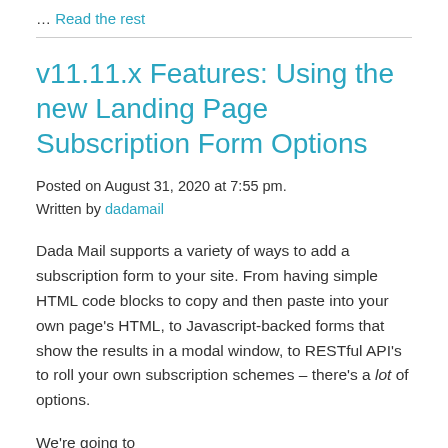… Read the rest
v11.11.x Features: Using the new Landing Page Subscription Form Options
Posted on August 31, 2020 at 7:55 pm.
Written by dadamail
Dada Mail supports a variety of ways to add a subscription form to your site. From having simple HTML code blocks to copy and then paste into your own page's HTML, to Javascript-backed forms that show the results in a modal window, to RESTful API's to roll your own subscription schemes – there's a lot of options.
We're going to